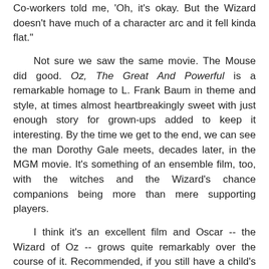Co-workers told me, 'Oh, it's okay. But the Wizard doesn't have much of a character arc and it fell kinda flat.'
Not sure we saw the same movie. The Mouse did good. Oz, The Great And Powerful is a remarkable homage to L. Frank Baum in theme and style, at times almost heartbreakingly sweet with just enough story for grown-ups added to keep it interesting. By the time we get to the end, we can see the man Dorothy Gale meets, decades later, in the MGM movie. It's something of an ensemble film, too, with the witches and the Wizard's chance companions being more than mere supporting players.
I think it's an excellent film and Oscar -- the Wizard of Oz -- grows quite remarkably over the course of it. Recommended, if you still have a child's heart; especially recommended if you're familiar with the source material and modern re-imagings.
And perhaps that's where my friends were lost. If you haven't seen the Judy Garland film since childhood (and a pity if you've not; cultural baggage aside, it's charming), if